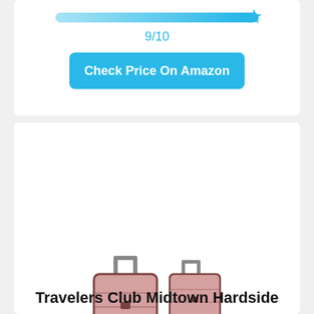[Figure (infographic): Rating bar showing 9/10 score with a cyan/blue gradient bar and a blue star at the right end]
9/10
Check Price On Amazon
[Figure (photo): Rose gold/pink hardside luggage set - Travelers Club Midtown Hardside, showing two hard-shell suitcases with telescoping handles, a duffel bag, and a small toiletry bag]
Travelers Club Midtown Hardside